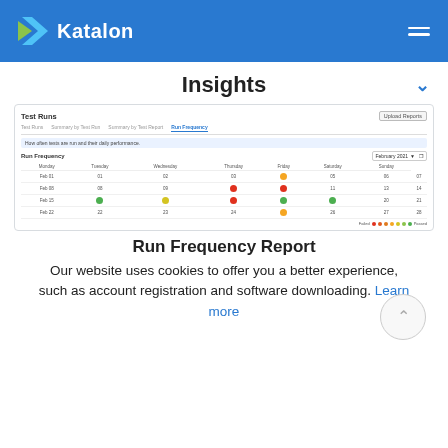Katalon
Insights
[Figure (screenshot): Katalon Test Runs dashboard showing Run Frequency tab with a calendar table for February 2021, displaying colored dots (green, yellow, red, orange) for test pass/fail status per day of the week across 4 weeks.]
Run Frequency Report
Our website uses cookies to offer you a better experience, such as account registration and software downloading. Learn more